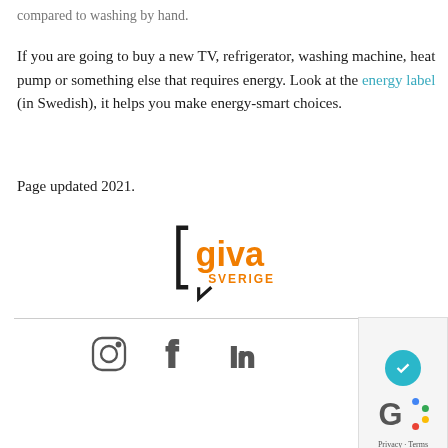compared to washing by hand.
If you are going to buy a new TV, refrigerator, washing machine, heat pump or something else that requires energy. Look at the energy label (in Swedish), it helps you make energy-smart choices.
Page updated 2021.
[Figure (logo): Giva Sverige logo — orange speech-bubble style with black bracket and text 'giva SVERIGE']
[Figure (logo): Social media icons: Instagram, Facebook, LinkedIn in grey]